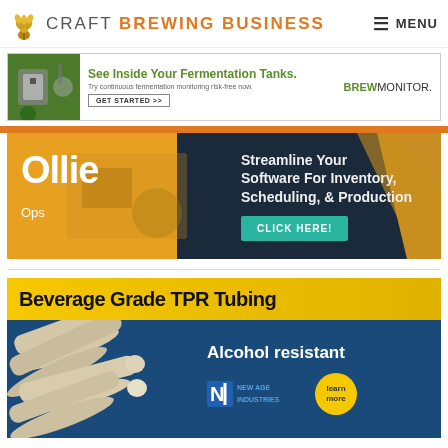CRAFT BREWING BUSINESS | MENU
[Figure (infographic): BrewMonitor ad: See Inside Your Fermentation Tanks. Try continuous fermentation monitoring risk-free now. GET STARTED >> BREWMONITOR.]
[Figure (infographic): Ollie Ops ad: Streamline Your Software For Inventory, Scheduling, & Production. CLICK HERE!]
[Figure (infographic): NewAge Industries ad: Beverage Grade TPR Tubing. Alcohol resistant. Learn more.]